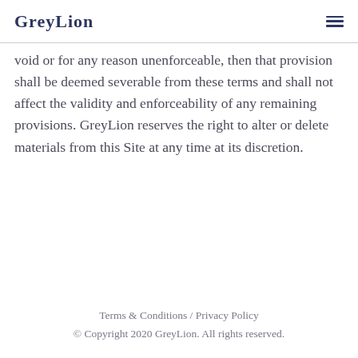GreyLion
void or for any reason unenforceable, then that provision shall be deemed severable from these terms and shall not affect the validity and enforceability of any remaining provisions. GreyLion reserves the right to alter or delete materials from this Site at any time at its discretion.
Terms & Conditions / Privacy Policy
© Copyright 2020 GreyLion. All rights reserved.